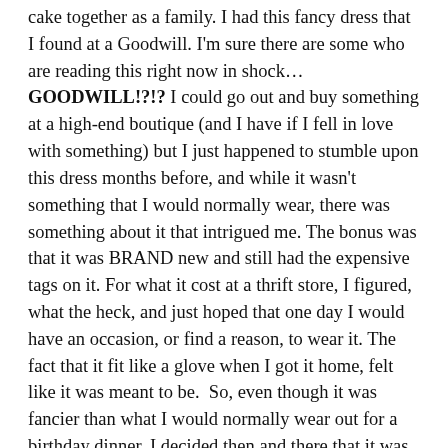cake together as a family. I had this fancy dress that I found at a Goodwill. I'm sure there are some who are reading this right now in shock…GOODWILL!?!? I could go out and buy something at a high-end boutique (and I have if I fell in love with something) but I just happened to stumble upon this dress months before, and while it wasn't something that I would normally wear, there was something about it that intrigued me. The bonus was that it was BRAND new and still had the expensive tags on it. For what it cost at a thrift store, I figured, what the heck, and just hoped that one day I would have an occasion, or find a reason, to wear it. The fact that it fit like a glove when I got it home, felt like it was meant to be. So, even though it was fancier than what I would normally wear out for a birthday dinner, I decided then and there that it was what I would wear for my birthday dinner. I dropped it off at the dry cleaners and looked forward to wearing it.
I had been working out hard (circuit training, Barre